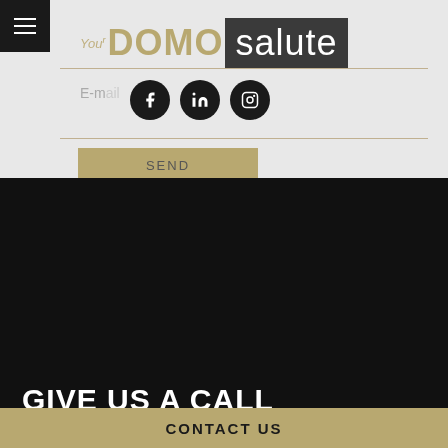[Figure (logo): YourDOMOsalute logo with social media icons (Facebook, LinkedIn, Instagram) and language selector (pt | en), plus a SEND button]
GIVE US A CALL
Address     Headquarters Cristóvão Colombo, 2948/411 – Porto Alegre, Brazil.
Phone     +55 51 3377- 4658 / International Business Developer +55 51 999719076
CONTACT US